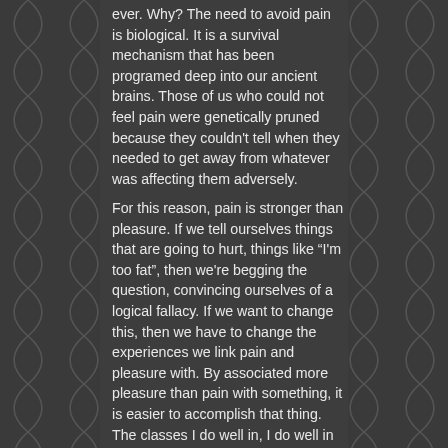ever. Why? The need to avoid pain is biological. It is a survival mechanism that has been programed deep into our ancient brains. Those of us who could not feel pain were genetically pruned because they couldn't tell when they needed to get away from whatever was affecting them adversely.
For this reason, pain is stronger than pleasure. If we tell ourselves things that are going to hurt, things like "I'm too fat", then we're begging the question, convincing ourselves of a logical fallacy. If we want to change this, then we have to change the experiences we link pain and pleasure with. By associated more pleasure than pain with something, it is easier to accomplish that thing. The classes I do well in, I do well in because I enjoy those courses. When I have a class I don't find interest in or find boring, I focus on why I am taking that class, and how the good grade at the end of the semester will feel to me, and what those grade will do for me later on.